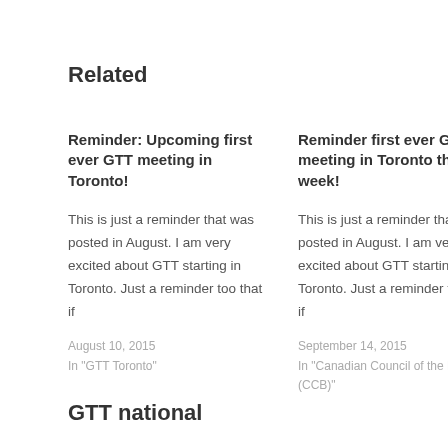Related
Reminder: Upcoming first ever GTT meeting in Toronto!
This is just a reminder that was posted in August. I am very excited about GTT starting in Toronto. Just a reminder too that if
August 10, 2015
In "GTT Toronto"
Reminder first ever GTT meeting in Toronto this week!
This is just a reminder that was posted in August. I am very excited about GTT starting in Toronto. Just a reminder too that if
September 14, 2015
In "Canadian Council of the Blind (CCB)"
GTT national